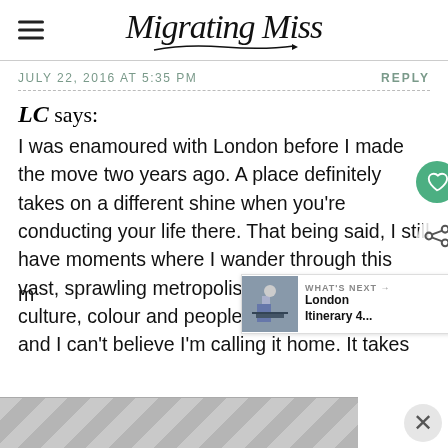Migrating Miss
JULY 22, 2016 AT 5:35 PM
REPLY
LC says:
I was enamoured with London before I made the move two years ago. A place definitely takes on a different shine when you're conducting your life there. That being said, I still have moments where I wander through this vast, sprawling metropolis of a city, filled with culture, colour and people from all walks of life and I can't believe I'm calling it home. It takes m... ...ved and